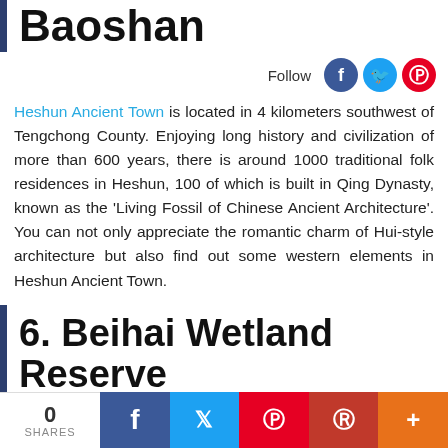Baoshan
Follow
Heshun Ancient Town is located in 4 kilometers southwest of Tengchong County. Enjoying long history and civilization of more than 600 years, there is around 1000 traditional folk residences in Heshun, 100 of which is built in Qing Dynasty, known as the 'Living Fossil of Chinese Ancient Architecture'. You can not only appreciate the romantic charm of Hui-style architecture but also find out some western elements in Heshun Ancient Town.
6. Beihai Wetland Reserve
The wetland is surrounded by mountains, located in a special geographical position, and is a typical subtropical volcanic lava barrier lake marsh wetland. The reserve